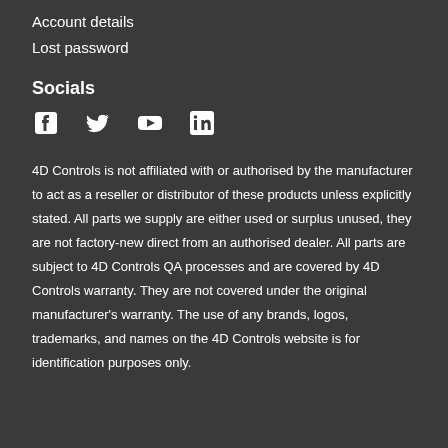Account details
Lost password
Socials
[Figure (illustration): Social media icons: Facebook, Twitter, YouTube, LinkedIn]
4D Controls is not affiliated with or authorised by the manufacturer to act as a reseller or distributor of these products unless explicitly stated. All parts we supply are either used or surplus unused, they are not factory-new direct from an authorised dealer. All parts are subject to 4D Controls QA processes and are covered by 4D Controls warranty. They are not covered under the original manufacturer's warranty. The use of any brands, logos, trademarks, and names on the 4D Controls website is for identification purposes only.